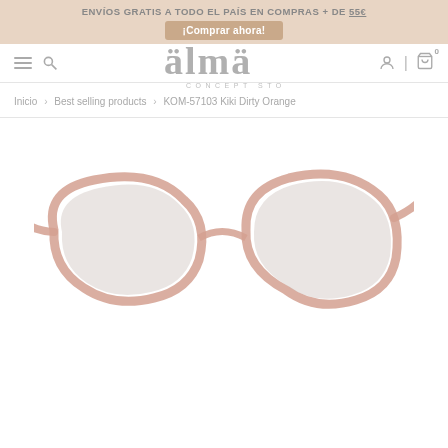ENVÍOS GRATIS A TODO EL PAÍS EN COMPRAS + DE 55€  ¡Comprar ahora!
[Figure (logo): Alma Concept Store logo — stylized lowercase 'älmä' with dots above letters]
Inicio > Best selling products > KOM-57103 Kiki Dirty Orange
[Figure (photo): Pink/rose translucent cat-eye sunglasses with light grey lenses, shown at an angle on white background]